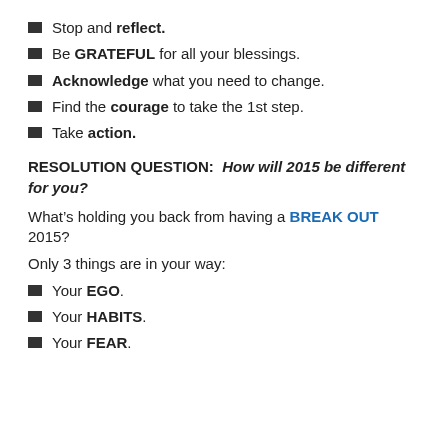Stop and reflect.
Be GRATEFUL for all your blessings.
Acknowledge what you need to change.
Find the courage to take the 1st step.
Take action.
RESOLUTION QUESTION:  How will 2015 be different for you?
What’s holding you back from having a BREAK OUT 2015?
Only 3 things are in your way:
Your EGO.
Your HABITS.
Your FEAR.